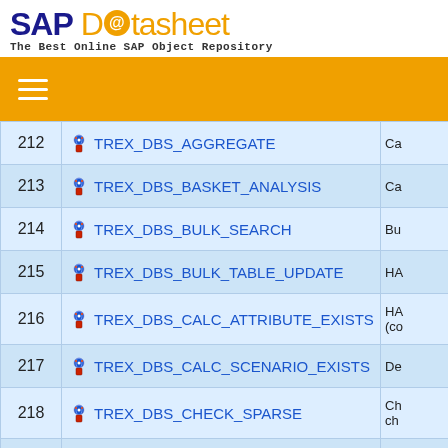SAP Datasheet - The Best Online SAP Object Repository
| # | Name | Description |
| --- | --- | --- |
| 212 | TREX_DBS_AGGREGATE | Ca |
| 213 | TREX_DBS_BASKET_ANALYSIS | Ca |
| 214 | TREX_DBS_BULK_SEARCH | Bu |
| 215 | TREX_DBS_BULK_TABLE_UPDATE | HA |
| 216 | TREX_DBS_CALC_ATTRIBUTE_EXISTS | HA (co |
| 217 | TREX_DBS_CALC_SCENARIO_EXISTS | De |
| 218 | TREX_DBS_CHECK_SPARSE | Ch ch |
| 219 | TREX_DBS_CLEAR_INDEX | Cl |
| 220 | TREX_DBS_COPY_INDEX | Co |
| 221 | TREX_DBS_CREATE_AGGR_RES_TABLE | Ca |